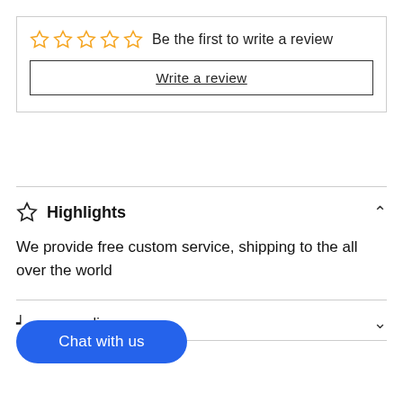[Figure (other): Five empty star rating icons in yellow/gold outline]
Be the first to write a review
Write a review
Highlights
We provide free custom service, shipping to the all over the world
Chat with us
policy